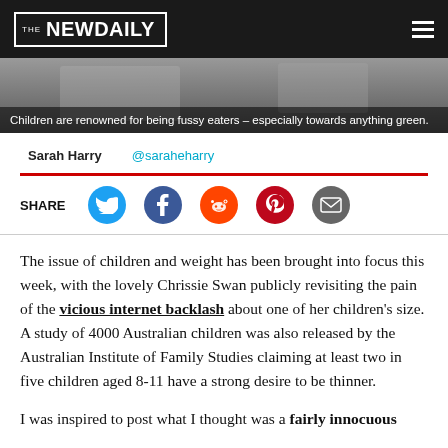THE NEWDAILY
[Figure (photo): Photo strip showing children, background image related to fussy eaters article]
Children are renowned for being fussy eaters – especially towards anything green.
Sarah Harry   @saraheharry
SHARE
The issue of children and weight has been brought into focus this week, with the lovely Chrissie Swan publicly revisiting the pain of the vicious internet backlash about one of her children's size. A study of 4000 Australian children was also released by the Australian Institute of Family Studies claiming at least two in five children aged 8-11 have a strong desire to be thinner.
I was inspired to post what I thought was a fairly innocuous